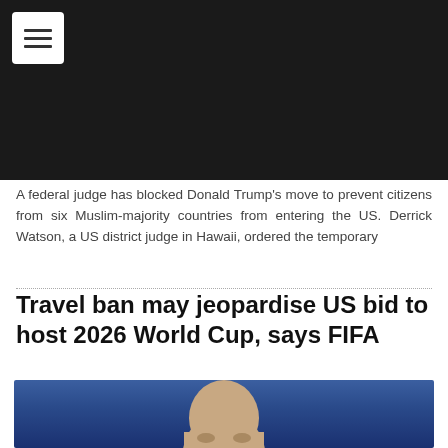[Figure (photo): Dark header image / video player background, black rectangle with navigation menu button in top-left corner]
A federal judge has blocked Donald Trump’s move to prevent citizens from six Muslim-majority countries from entering the US. Derrick Watson, a US district judge in Hawaii, ordered the temporary
Travel ban may jeopardise US bid to host 2026 World Cup, says FIFA
[Figure (photo): Photo of a bald man (FIFA official) against a blue background, cropped at the forehead/eyes area]